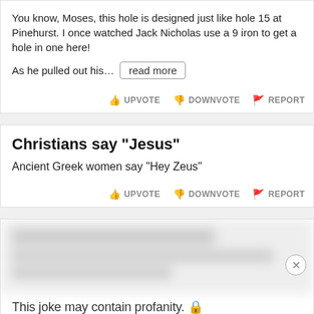You know, Moses, this hole is designed just like hole 15 at Pinehurst. I once watched Jack Nicholas use a 9 iron to get a hole in one here!
As he pulled out his... read more
UPVOTE  DOWNVOTE  REPORT
Christians say "Jesus"
Ancient Greek women say "Hey Zeus"
UPVOTE  DOWNVOTE  REPORT
[Figure (screenshot): Blurred/redacted content card with profanity warning text: 'This joke may contain profanity.' and a close button (X)]
[Figure (infographic): Advertisement banner for Disney Bundle featuring Hulu, Disney+, ESPN+ logos with 'GET THE DISNEY BUNDLE' CTA button. Fine print: 'Incl. Hulu (ad-supported) or Hulu (No Ads). Access content from each service separately. ©2021 Disney and its related entities.']